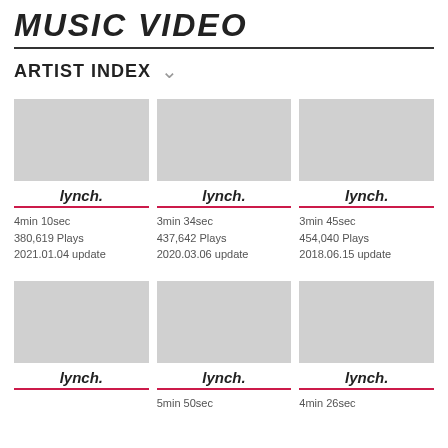MUSIC VIDEO
ARTIST INDEX
lynch. | 4min 10sec | 380,619 Plays | 2021.01.04 update
lynch. | 3min 34sec | 437,642 Plays | 2020.03.06 update
lynch. | 3min 45sec | 454,040 Plays | 2018.06.15 update
lynch. (bottom row 1)
lynch. | 5min 50sec
lynch. | 4min 26sec